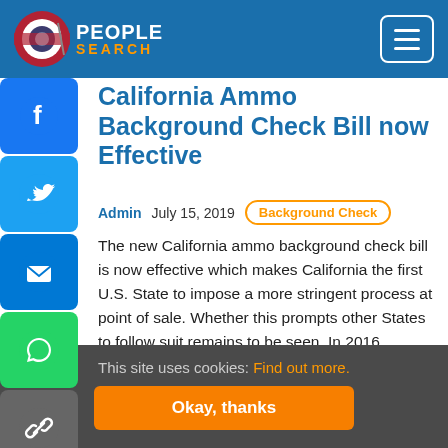[Figure (logo): People Search logo with American flag icon, white PEOPLE text and orange SEARCH text on blue background]
California Ammo Background Check Bill now Effective
Admin   July 15, 2019
Background Check
The new California ammo background check bill is now effective which makes California the first U.S. State to impose a more stringent process at point of sale. Whether this prompts other States to follow suit remains to be seen. In 2016 California voters voted overwhelmingly to approve the measures and
This site uses cookies: Find out more.
Okay, thanks